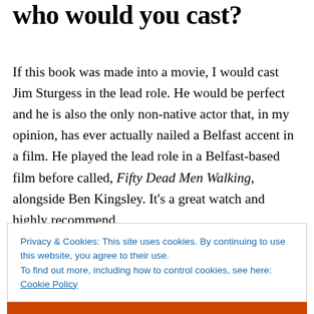who would you cast?
If this book was made into a movie, I would cast Jim Sturgess in the lead role. He would be perfect and he is also the only non-native actor that, in my opinion, has ever actually nailed a Belfast accent in a film. He played the lead role in a Belfast-based film before called, Fifty Dead Men Walking, alongside Ben Kingsley. It's a great watch and highly recommend.
Privacy & Cookies: This site uses cookies. By continuing to use this website, you agree to their use.
To find out more, including how to control cookies, see here: Cookie Policy
Close and accept